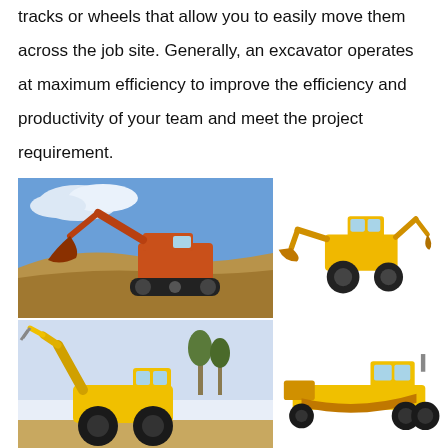tracks or wheels that allow you to easily move them across the job site. Generally, an excavator operates at maximum efficiency to improve the efficiency and productivity of your team and meet the project requirement.
[Figure (photo): Four construction equipment photos arranged in a 2x2 grid: top-left shows an orange excavator digging at a construction site with blue sky background; top-right shows a yellow backhoe loader on white background; bottom-left shows a yellow telescopic handler/telehandler with extended boom against a sky background; bottom-right shows a yellow motor grader on white background.]